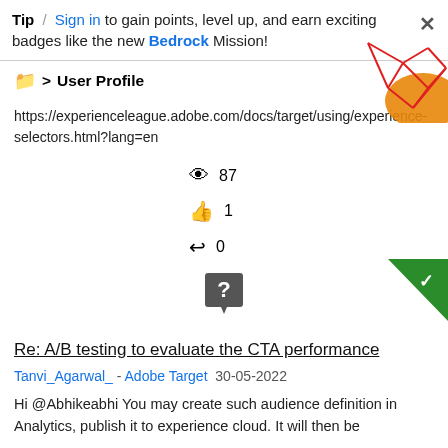Tip / Sign in to gain points, level up, and earn exciting badges like the new Bedrock Mission!
📁 > User Profile
https://experienceleague.adobe.com/docs/target/using/experience-selectors.html?lang=en
👁 87
👍 1
↩ 0
[Figure (illustration): Red geometric network lines overlaid on orange circular shape, decorative illustration]
[Figure (illustration): Dark gray speech bubble with question mark icon]
[Figure (illustration): Dark green triangle with white checkmark, answer accepted badge]
Re: A/B testing to evaluate the CTA performance
Tanvi_Agarwal_ - Adobe Target 30-05-2022
Hi @Abhikeabhi You may create such audience definition in Analytics, publish it to experience cloud. It will then be